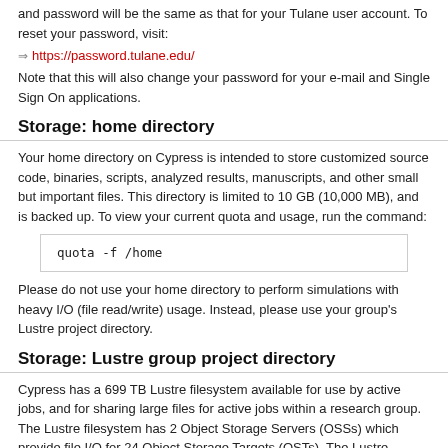and password will be the same as that for your Tulane user account. To reset your password, visit:
⇒ https://password.tulane.edu/
Note that this will also change your password for your e-mail and Single Sign On applications.
Storage: home directory
Your home directory on Cypress is intended to store customized source code, binaries, scripts, analyzed results, manuscripts, and other small but important files. This directory is limited to 10 GB (10,000 MB), and is backed up. To view your current quota and usage, run the command:
quota -f /home
Please do not use your home directory to perform simulations with heavy I/O (file read/write) usage. Instead, please use your group's Lustre project directory.
Storage: Lustre group project directory
Cypress has a 699 TB Lustre filesystem available for use by active jobs, and for sharing large files for active jobs within a research group. The Lustre filesystem has 2 Object Storage Servers (OSSs) which provide file I/O for 24 Object Storage Targets (OSTs). The Lustre filesystem is available to compute nodes via the 40 Gigabit Ethernet network. The default stripe count is set to 1.